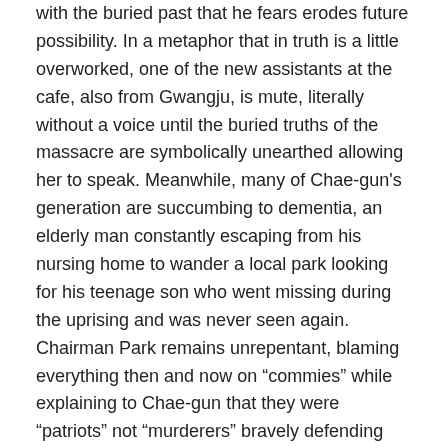with the buried past that he fears erodes future possibility. In a metaphor that in truth is a little overworked, one of the new assistants at the cafe, also from Gwangju, is mute, literally without a voice until the buried truths of the massacre are symbolically unearthed allowing her to speak. Meanwhile, many of Chae-gun's generation are succumbing to dementia, an elderly man constantly escaping from his nursing home to wander a local park looking for his teenage son who went missing during the uprising and was never seen again. Chairman Park remains unrepentant, blaming everything then and now on “commies” while explaining to Chae-gun that they were “patriots” not “murderers” bravely defending the Korean state and in any case God forgives all so they’ve no need to blame themselves.
Park may feel no remorse but the unresolved trauma of Gwangju continues to echo not only through Chae-gun’s wounded soul but through society, a heated debate breaking out between a group young people of critical of the authoritarian past and a collection of older conservative nationalists who object to their criticism of